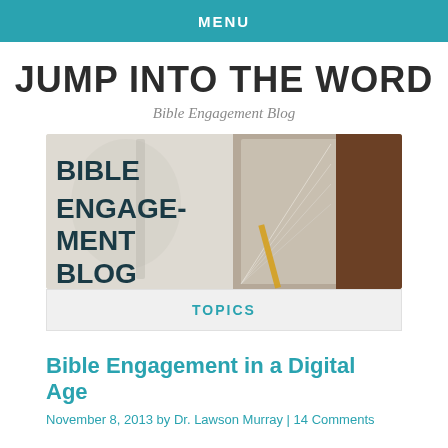MENU
JUMP INTO THE WORD
Bible Engagement Blog
[Figure (illustration): Banner image showing the text 'BIBLE ENGAGEMENT BLOG' in bold dark teal on left, with a blurred background and a photo of a Bible/book on the right side.]
TOPICS
Bible Engagement in a Digital Age
November 8, 2013 by Dr. Lawson Murray | 14 Comments